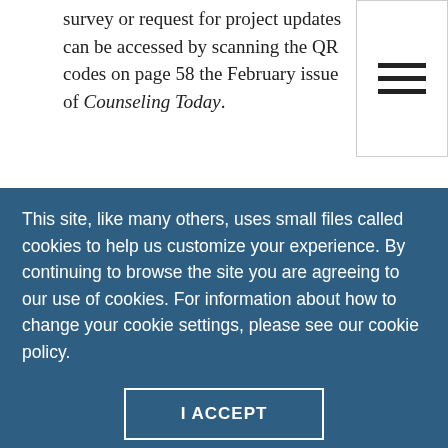survey or request for project updates can be accessed by scanning the QR codes on page 58 the February issue of Counseling Today.
[Figure (other): Hamburger menu icon with three horizontal lines]
****
Maxine L. Rawlins is a professor and coordinator of
This site, like many others, uses small files called cookies to help us customize your experience. By continuing to browse the site you are agreeing to our use of cookies. For information about how to change your cookie settings, please see our cookie policy.
I ACCEPT